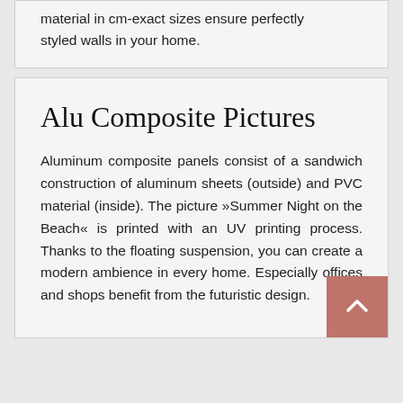material in cm-exact sizes ensure perfectly styled walls in your home.
Alu Composite Pictures
Aluminum composite panels consist of a sandwich construction of aluminum sheets (outside) and PVC material (inside). The picture »Summer Night on the Beach« is printed with an UV printing process. Thanks to the floating suspension, you can create a modern ambience in every home. Especially offices and shops benefit from the futuristic design.